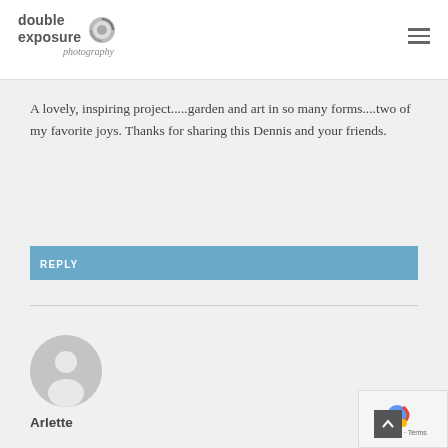double exposure photography
A lovely, inspiring project.....garden and art in so many forms....two of my favorite joys. Thanks for sharing this Dennis and your friends.
REPLY
[Figure (photo): User avatar placeholder - grey circle with person silhouette]
Arlette